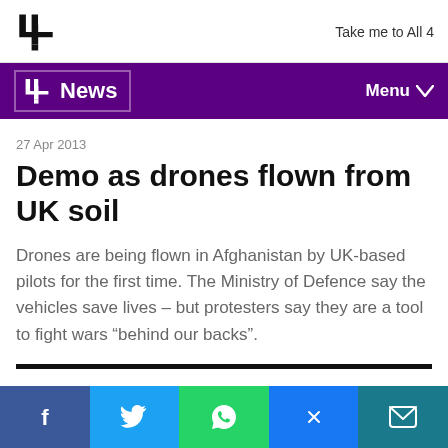Take me to All 4
Channel 4 News
27 Apr 2013
Demo as drones flown from UK soil
Drones are being flown in Afghanistan by UK-based pilots for the first time. The Ministry of Defence say the vehicles save lives – but protesters say they are a tool to fight wars “behind our backs”.